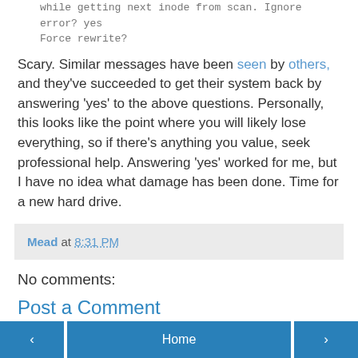while getting next inode from scan. Ignore
error? yes
Force rewrite?
Scary. Similar messages have been seen by others, and they've succeeded to get their system back by answering 'yes' to the above questions. Personally, this looks like the point where you will likely lose everything, so if there's anything you value, seek professional help. Answering 'yes' worked for me, but I have no idea what damage has been done. Time for a new hard drive.
Mead at 8:31 PM
No comments:
Post a Comment
< Home >